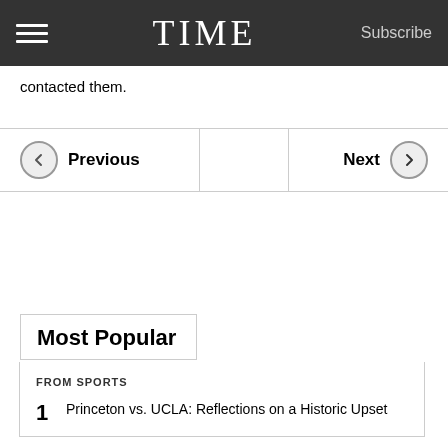TIME
contacted them.
Previous
Next
Most Popular
FROM SPORTS
Princeton vs. UCLA: Reflections on a Historic Upset